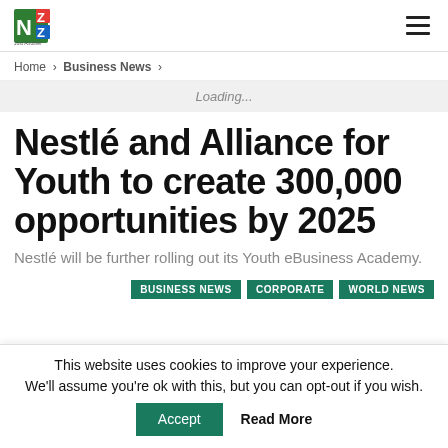NZ [logo] | hamburger menu
Home > Business News >
Loading...
Nestlé and Alliance for Youth to create 300,000 opportunities by 2025
Nestlé will be further rolling out its Youth eBusiness Academy.
BUSINESS NEWS   CORPORATE   WORLD NEWS
This website uses cookies to improve your experience. We'll assume you're ok with this, but you can opt-out if you wish. Accept   Read More